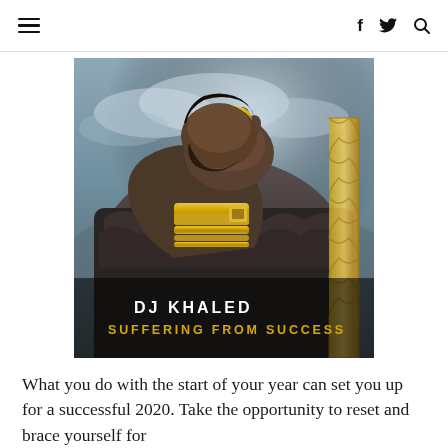≡  f  🐦  🔍
[Figure (photo): Album cover for DJ Khaled 'Suffering From Success' — a man in fur coat with gold jewelry holding his head, dramatic sky background. Text overlay reads 'DJ KHALED' in white and 'SUFFERING FROM SUCCESS' in gold.]
What you do with the start of your year can set you up for a successful 2020. Take the opportunity to reset and brace yourself for